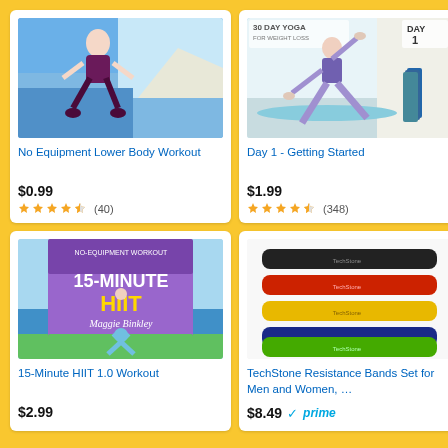[Figure (screenshot): Amazon product listing grid showing 4 fitness products: No Equipment Lower Body Workout ($0.99, 4.5 stars, 40 reviews), Day 1 - Getting Started ($1.99, 4.5 stars, 348 reviews), 15-Minute HIIT 1.0 Workout ($2.99), TechStone Resistance Bands Set for Men and Women ($8.49, Prime)]